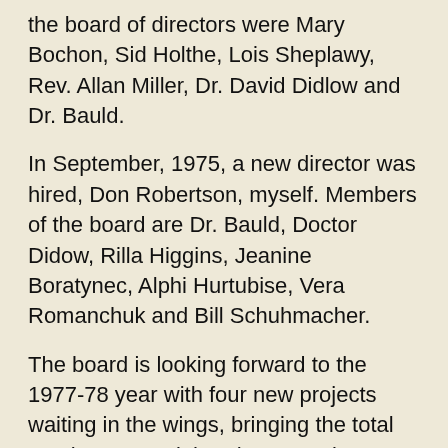the board of directors were Mary Bochon, Sid Holthe, Lois Sheplawy, Rev. Allan Miller, Dr. David Didlow and Dr. Bauld.
In September, 1975, a new director was hired, Don Robertson, myself. Members of the board are Dr. Bauld, Doctor Didow, Rilla Higgins, Jeanine Boratynec, Alphi Hurtubise, Vera Romanchuk and Bill Schuhmacher.
The board is looking forward to the 1977-78 year with four new projects waiting in the wings, bringing the total number up to eight. They are Director project, Teen Centre project, Meals on Wheels project, Economic Development project, Elk Point Volunteer project.
The first Elk Point P.S.S. budget was submitted for $828.03; today's budget has been submitted for slightly over $25,000.00.